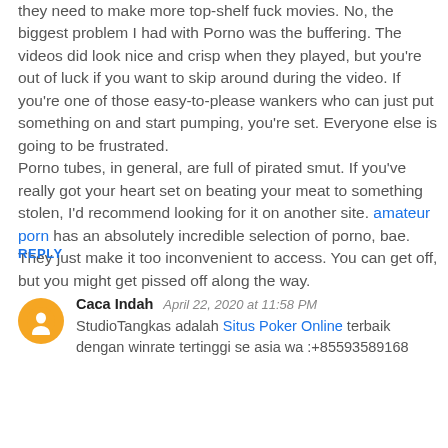they need to make more top-shelf fuck movies. No, the biggest problem I had with Porno was the buffering. The videos did look nice and crisp when they played, but you're out of luck if you want to skip around during the video. If you're one of those easy-to-please wankers who can just put something on and start pumping, you're set. Everyone else is going to be frustrated.
Porno tubes, in general, are full of pirated smut. If you've really got your heart set on beating your meat to something stolen, I'd recommend looking for it on another site. amateur porn has an absolutely incredible selection of porno, bae. They just make it too inconvenient to access. You can get off, but you might get pissed off along the way.
REPLY
Caca Indah  April 22, 2020 at 11:58 PM
StudioTangkas adalah Situs Poker Online terbaik dengan winrate tertinggi se asia wa :+85593589168